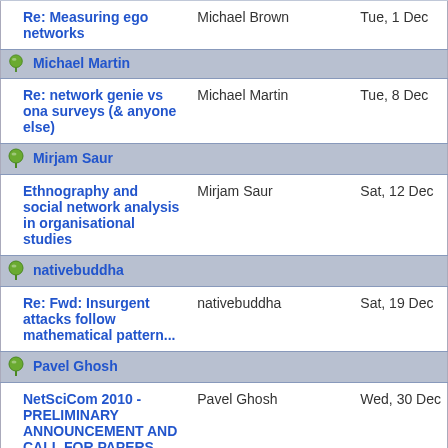| Subject | Sender | Date |
| --- | --- | --- |
| Re: Measuring ego networks | Michael Brown | Tue, 1 Dec |
| [header] Michael Martin |  |  |
| Re: network genie vs ona surveys (& anyone else) | Michael Martin | Tue, 8 Dec |
| [header] Mirjam Saur |  |  |
| Ethnography and social network analysis in organisational studies | Mirjam Saur | Sat, 12 Dec |
| [header] nativebuddha |  |  |
| Re: Fwd: Insurgent attacks follow mathematical pattern... | nativebuddha | Sat, 19 Dec |
| [header] Pavel Ghosh |  |  |
| NetSciCom 2010 - PRELIMINARY ANNOUNCEMENT AND CALL FOR PAPERS | Pavel Ghosh | Wed, 30 Dec |
| NetSciCom 2010 -... |  |  |